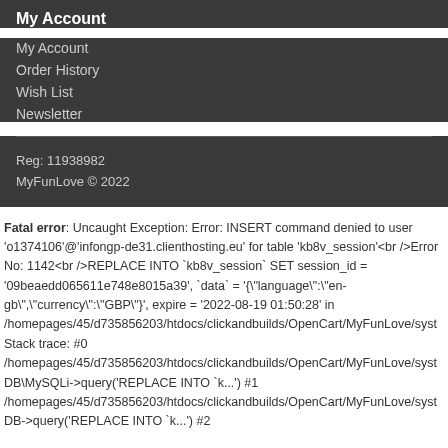My Account
My Account
Order History
Wish List
Newsletter
Reg: 11938982
MyFunLove © 2022
Fatal error: Uncaught Exception: Error: INSERT command denied to user 'o1374106'@'infongp-de31.clienthosting.eu' for table 'kb8v_session'<br />Error No: 1142<br />REPLACE INTO `kb8v_session` SET session_id = '09beaedd065611e748e8015a39', `data` = '{"language":"en-gb","currency":"GBP"}', expire = '2022-08-19 01:50:28' in /homepages/45/d735856203/htdocs/clickandbuilds/OpenCart/MyFunLove/syst Stack trace: #0 /homepages/45/d735856203/htdocs/clickandbuilds/OpenCart/MyFunLove/syst DB\MySQLi->query('REPLACE INTO `k...') #1 /homepages/45/d735856203/htdocs/clickandbuilds/OpenCart/MyFunLove/syst DB->query('REPLACE INTO `k...') #2